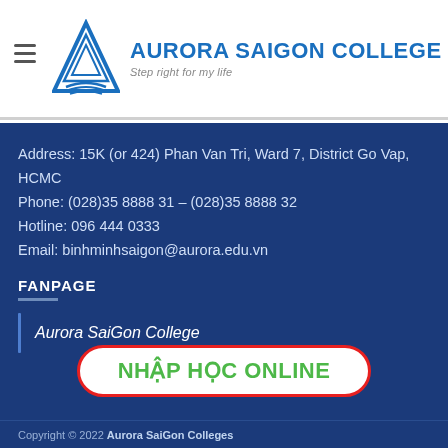[Figure (logo): Aurora Saigon College logo with blue triangle/book icon, text 'AURORA SAIGON COLLEGE' in bold blue and italic tagline 'Step right for my life']
Address: 15K (or 424) Phan Van Tri, Ward 7, District Go Vap, HCMC
Phone: (028)35 8888 31 – (028)35 8888 32
Hotline: 096 444 0333
Email: binhminhsaigon@aurora.edu.vn
FANPAGE
Aurora SaiGon College
NHẬP HỌC ONLINE
Copyright © 2022 Aurora SaiGon Colleges